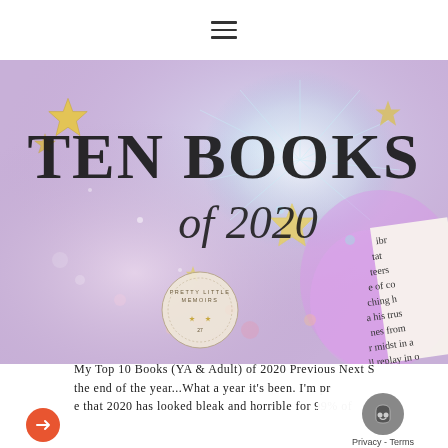[Figure (illustration): Navigation bar with hamburger menu icon (three horizontal lines) centered on white background]
[Figure (photo): Hero banner image reading 'TEN BOOKS of 2020' with large serif text overlay on a dreamy purple/pink/blue starry background with fireworks, gold stars, and sparkles. A circular stamp reading 'Pretty Little Memoirs' is visible, along with partial text of a book page on the right side showing fragments: 'ibr', 'tat', 'teers', 'e of co', 'ching h', 'a his trus', 'nes from', 'r midst in a', 'll replay in o']
My Top 10 Books (YA & Adult) of 2020 Previous Next S the end of the year...What a year it's been. I'm pr that 2020 has looked bleak and horrible for 99% of